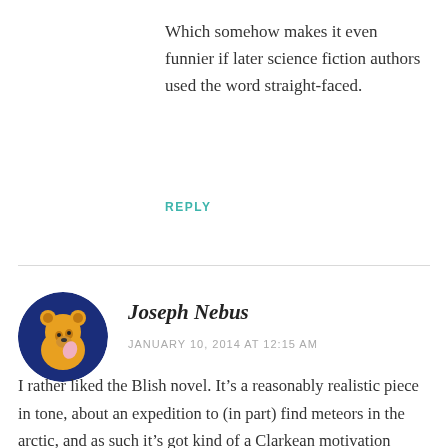Which somehow makes it even funnier if later science fiction authors used the word straight-faced.
REPLY
Joseph Nebus
JANUARY 10, 2014 AT 12:15 AM
I rather liked the Blish novel. It’s a reasonably realistic piece in tone, about an expedition to (in part) find meteors in the arctic, and as such it’s got kind of a Clarkean motivation behind it. There’s a twist at the end which arguably makes it science fiction, although it’s not aggressive...